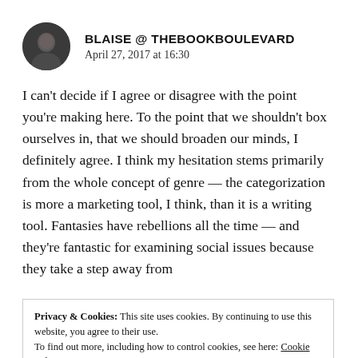BLAISE @ THEBOOKBOULEVARD
April 27, 2017 at 16:30
I can't decide if I agree or disagree with the point you're making here. To the point that we shouldn't box ourselves in, that we should broaden our minds, I definitely agree. I think my hesitation stems primarily from the whole concept of genre — the categorization is more a marketing tool, I think, than it is a writing tool. Fantasies have rebellions all the time — and they're fantastic for examining social issues because they take a step away from
Privacy & Cookies: This site uses cookies. By continuing to use this website, you agree to their use.
To find out more, including how to control cookies, see here: Cookie Policy
genres (I personally don't think that any of the